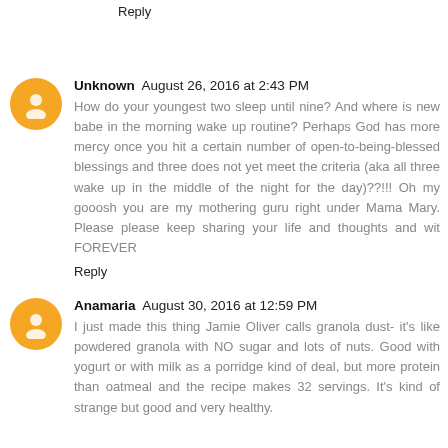Reply
Unknown  August 26, 2016 at 2:43 PM
How do your youngest two sleep until nine? And where is new babe in the morning wake up routine? Perhaps God has more mercy once you hit a certain number of open-to-being-blessed blessings and three does not yet meet the criteria (aka all three wake up in the middle of the night for the day)??!!! Oh my gooosh you are my mothering guru right under Mama Mary. Please please keep sharing your life and thoughts and wit FOREVER
Reply
Anamaria  August 30, 2016 at 12:59 PM
I just made this thing Jamie Oliver calls granola dust- it's like powdered granola with NO sugar and lots of nuts. Good with yogurt or with milk as a porridge kind of deal, but more protein than oatmeal and the recipe makes 32 servings. It's kind of strange but good and very healthy.